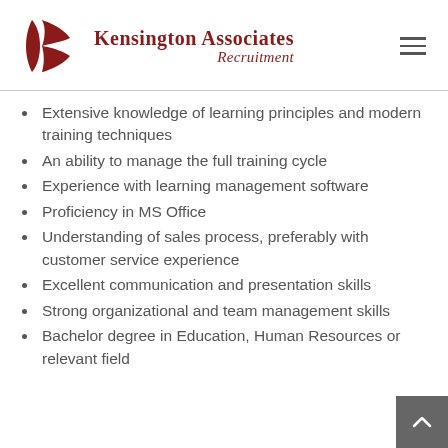[Figure (logo): Kensington Associates Recruitment logo with stylized K icon in dark red and company name in serif font]
Extensive knowledge of learning principles and modern training techniques
An ability to manage the full training cycle
Experience with learning management software
Proficiency in MS Office
Understanding of sales process, preferably with customer service experience
Excellent communication and presentation skills
Strong organizational and team management skills
Bachelor degree in Education, Human Resources or relevant field